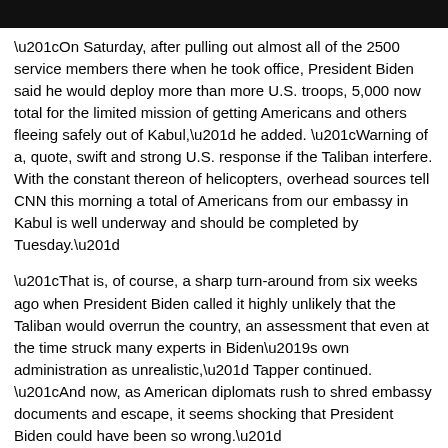“On Saturday, after pulling out almost all of the 2500 service members there when he took office, President Biden said he would deploy more than more U.S. troops, 5,000 now total for the limited mission of getting Americans and others fleeing safely out of Kabul,” he added. “Warning of a, quote, swift and strong U.S. response if the Taliban interfere. With the constant thereon of helicopters, overhead sources tell CNN this morning a total of Americans from our embassy in Kabul is well underway and should be completed by Tuesday.”
“That is, of course, a sharp turn-around from six weeks ago when President Biden called it highly unlikely that the Taliban would overrun the country, an assessment that even at the time struck many experts in Biden’s own administration as unrealistic,” Tapper continued. “And now, as American diplomats rush to shred embassy documents and escape, it seems shocking that President Biden could have been so wrong.”
>>>FOLLOW US ON GAB<<< [3]